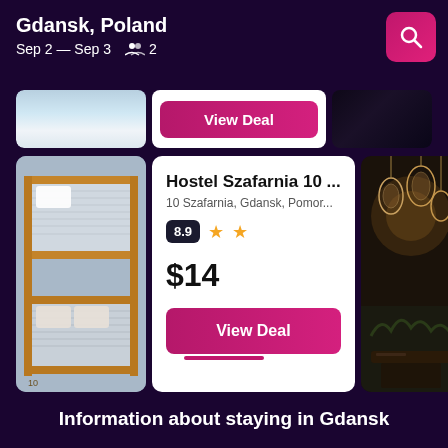Gdansk, Poland
Sep 2 — Sep 3    2
[Figure (screenshot): Partially visible hotel card with View Deal button at top]
[Figure (screenshot): Hostel Szafarnia 10 listing card showing bunk bed image, rating 8.9 with 2 stars, price $14, and View Deal button]
Hostel Szafarnia 10 ...
10 Szafarnia, Gdansk, Pomor...
8.9
$14
View Deal
Information about staying in Gdansk